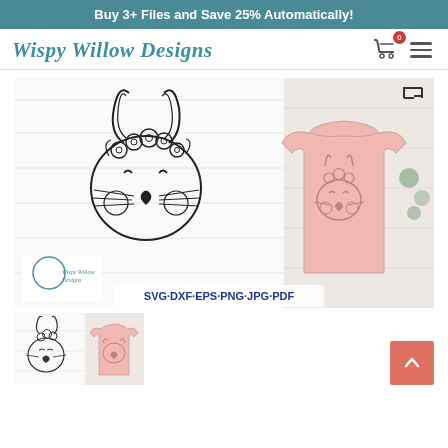Buy 3+ Files and Save 25% Automatically!
[Figure (logo): Wispy Willow Designs logo with teal cursive text and shopping cart icon with 0 badge and hamburger menu]
[Figure (photo): Product listing image showing an SVG cut file of a cute bunny with floral crown, shown as line art on white background on the left, and printed on a pink toddler t-shirt on the right. Text at bottom reads SVG·DXF·EPS·PNG·JPG·PDF with Wispy Willow Designs watermark.]
[Figure (photo): Thumbnail image of same bunny SVG product showing line art bunny and bunny on pink shirt, smaller preview.]